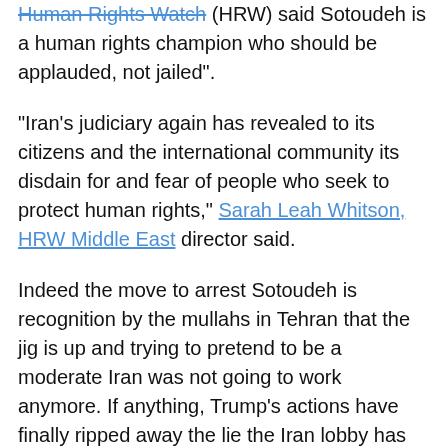Human Rights Watch (HRW) said Sotoudeh is a human rights champion who should be applauded, not jailed".
"Iran's judiciary again has revealed to its citizens and the international community its disdain for and fear of people who seek to protect human rights," Sarah Leah Whitson, HRW Middle East director said.
Indeed the move to arrest Sotoudeh is recognition by the mullahs in Tehran that the jig is up and trying to pretend to be a moderate Iran was not going to work anymore. If anything, Trump's actions have finally ripped away the lie the Iran lobby has worked hard to maintain and revealed the awful truth about the Iranian regime.